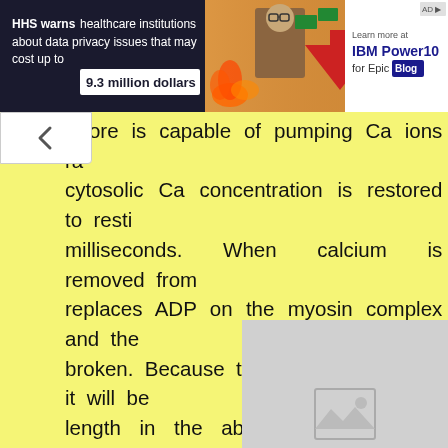[Figure (screenshot): Ad banner: HHS warns healthcare institutions about data privacy issues that may cost up to 9.3 million dollars. Center shows a person with flame and downward arrow graphics. Right side shows IBM Power10 for Epic Blog advertisement.]
retore is capable of pumping Ca ions ra cytosolic Ca concentration is restored to resti milliseconds. When calcium is removed from replaces ADP on the myosin complex and the broken. Because the muscle is elastic, it will be length in the absence of a further stimulus Shortening is an active process; lengthening is a p
[Figure (photo): Image placeholder with mountain/photo icon on grey background]